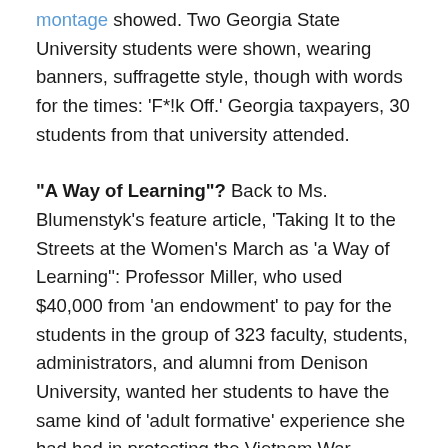montage showed. Two Georgia State University students were shown, wearing banners, suffragette style, though with words for the times: 'F*!k Off.' Georgia taxpayers, 30 students from that university attended.
"A Way of Learning"? Back to Ms. Blumenstyk's feature article, 'Taking It to the Streets at the Women's March as 'a Way of Learning'': Professor Miller, who used $40,000 from 'an endowment' to pay for the students in the group of 323 faculty, students, administrators, and alumni from Denison University, wanted her students to have the same kind of 'adult formative' experience she had had in protesting the Vietnam War. Miller's